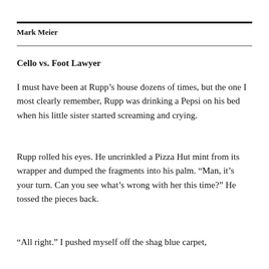Mark Meier
Cello vs. Foot Lawyer
I must have been at Rupp’s house dozens of times, but the one I most clearly remember, Rupp was drinking a Pepsi on his bed when his little sister started screaming and crying.
Rupp rolled his eyes. He uncrinkled a Pizza Hut mint from its wrapper and dumped the fragments into his palm. “Man, it’s your turn. Can you see what’s wrong with her this time?” He tossed the pieces back.
“All right.” I pushed myself off the shag blue carpet,